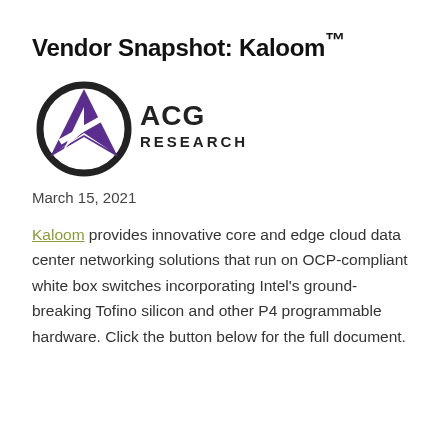Vendor Snapshot: Kaloom™
[Figure (logo): ACG Research logo with purple triangular arrow icon and circular band, with 'ACG RESEARCH' text in dark gray]
March 15, 2021
Kaloom provides innovative core and edge cloud data center networking solutions that run on OCP-compliant white box switches incorporating Intel's ground-breaking Tofino silicon and other P4 programmable hardware. Click the button below for the full document.